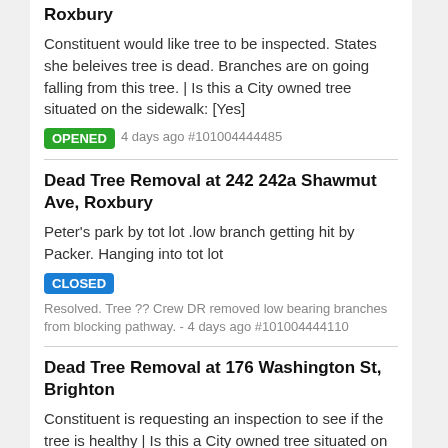Roxbury
Constituent would like tree to be inspected. States she beleives tree is dead. Branches are on going falling from this tree. | Is this a City owned tree situated on the sidewalk: [Yes]
OPENED 4 days ago #101004444485
Dead Tree Removal at 242 242a Shawmut Ave, Roxbury
Peter's park by tot lot .low branch getting hit by Packer. Hanging into tot lot
CLOSED Resolved. Tree ?? Crew DR removed low bearing branches from blocking pathway. - 4 days ago #101004444110
Dead Tree Removal at 176 Washington St, Brighton
Constituent is requesting an inspection to see if the tree is healthy | Is this a City owned tree situated on the sidewalk: [Yes]